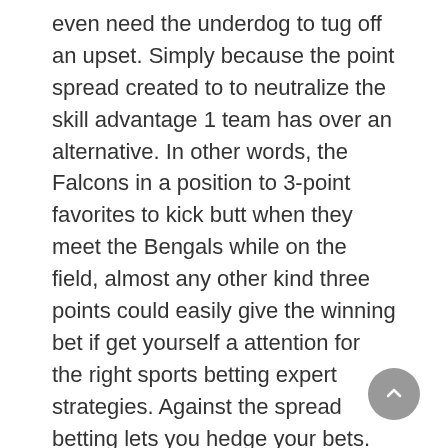even need the underdog to tug off an upset. Simply because the point spread created to to neutralize the skill advantage 1 team has over an alternative. In other words, the Falcons in a position to 3-point favorites to kick butt when they meet the Bengals while on the field, almost any other kind three points could easily give the winning bet if get yourself a attention for the right sports betting expert strategies. Against the spread betting lets you hedge your bets. Various other words, the Bengals you do not have to take home some loot. They just can't lose by exceeding three particular points.
There additionally the American Odds presented in form -110,+220,etc. The Decimal odds seem being by far the easiest to appraise